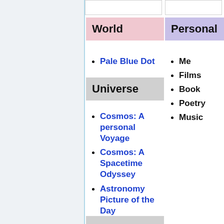World
Pale Blue Dot
Universe
Cosmos: A personal Voyage
Cosmos: A Spacetime Odyssey
Astronomy Picture of the Day
The color of the Sun
Personal
Me
Films
Book
Poetry
Music